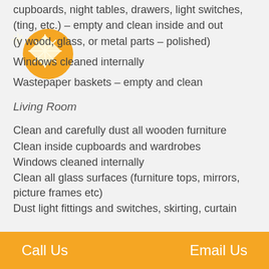cupboards, night tables, drawers, light switches,
(ting, etc.) – empty and clean inside and out
(y wood, glass, or metal parts – polished)
Windows cleaned internally
Wastepaper baskets – empty and clean
Living Room
Clean and carefully dust all wooden furniture
Clean inside cupboards and wardrobes
Windows cleaned internally
Clean all glass surfaces (furniture tops, mirrors, picture frames etc)
Dust light fittings and switches, skirting, curtain
Call Us    Email Us